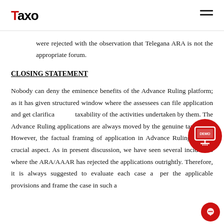Taxo
were rejected with the observation that Telegana ARA is not the appropriate forum.
CLOSING STATEMENT
Nobody can deny the eminence benefits of the Advance Ruling platform; as it has given structured window where the assessees can file application and get clarification on taxability of the activities undertaken by them. The Advance Ruling applications are always moved by the genuine taxpayers. However, the factual framing of application in Advance Ruling is very crucial aspect. As in present discussion, we have seen several incidences where the ARA/AAAR has rejected the applications outrightly. Therefore, it is always suggested to evaluate each case as per the applicable provisions and frame the case in such a